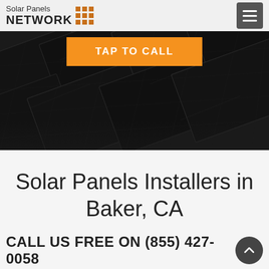Solar Panels NETWORK
[Figure (screenshot): Hero image showing solar panels in dark/black tone, angled array view from close up]
TAP TO CALL
Solar Panels Installers in Baker, CA
CALL US FREE ON (855) 427-0058